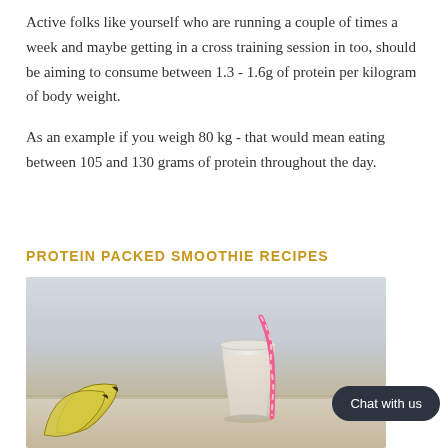Active folks like yourself who are running a couple of times a week and maybe getting in a cross training session in too, should be aiming to consume between 1.3 - 1.6g of protein per kilogram of body weight.
As an example if you weigh 80 kg - that would mean eating between 105 and 130 grams of protein throughout the day.
PROTEIN PACKED SMOOTHIE RECIPES
[Figure (photo): A smoothie in a clear glass with a pink straw, with bananas in the foreground on a light surface against a pale grey background.]